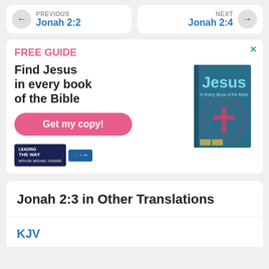PREVIOUS Jonah 2:2
NEXT Jonah 2:4
[Figure (infographic): Advertisement for a free guide: 'Find Jesus in every book of the Bible' with a book cover showing 'Jesus in Every Book of the Bible' and a pink 'Get my copy!' button. Leading the Way and radio logos at bottom.]
Jonah 2:3 in Other Translations
KJV